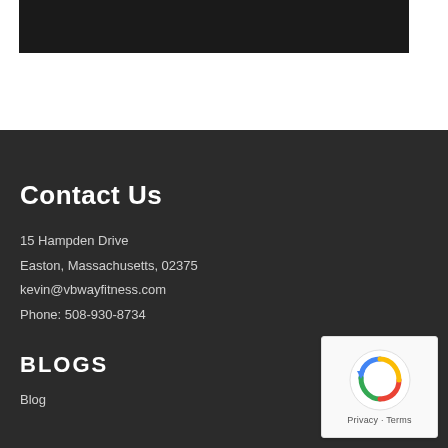[Figure (screenshot): Dark banner/header bar at top of page on white background]
Contact Us
15 Hampden Drive
Easton, Massachusetts, 02375
kevin@vbwayfitness.com
Phone: 508-930-8734
BLOGS
Blog